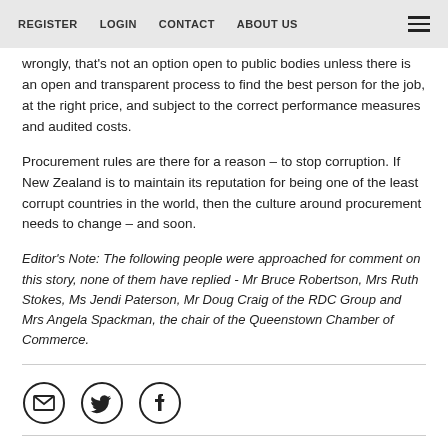REGISTER  LOGIN  CONTACT  ABOUT US
wrongly, that's not an option open to public bodies unless there is an open and transparent process to find the best person for the job, at the right price, and subject to the correct performance measures and audited costs.
Procurement rules are there for a reason – to stop corruption. If New Zealand is to maintain its reputation for being one of the least corrupt countries in the world, then the culture around procurement needs to change – and soon.
Editor's Note: The following people were approached for comment on this story, none of them have replied - Mr Bruce Robertson, Mrs Ruth Stokes, Ms Jendi Paterson, Mr Doug Craig of the RDC Group and Mrs Angela Spackman, the chair of the Queenstown Chamber of Commerce.
[Figure (infographic): Three social sharing icons in circles: email/envelope icon, Twitter bird icon, Facebook 'f' icon]